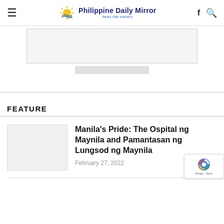Philippine Daily Mirror — News that matters
[Figure (other): Advertisement placeholder box, light gray with border]
FEATURE
Manila's Pride: The Ospital ng Maynila and Pamantasan ng Lungsod ng Maynila
February 27, 2022